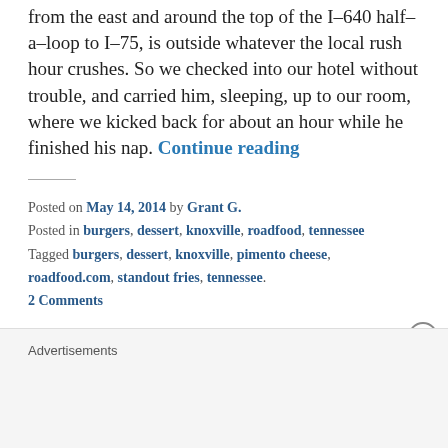from the east and around the top of the I-640 half-a-loop to I-75, is outside whatever the local rush hour crushes. So we checked into our hotel without trouble, and carried him, sleeping, up to our room, where we kicked back for about an hour while he finished his nap. Continue reading
Posted on May 14, 2014 by Grant G. Posted in burgers, dessert, knoxville, roadfood, tennessee Tagged burgers, dessert, knoxville, pimento cheese, roadfood.com, standout fries, tennessee. 2 Comments
Como's Pete's No. 4,
Advertisements